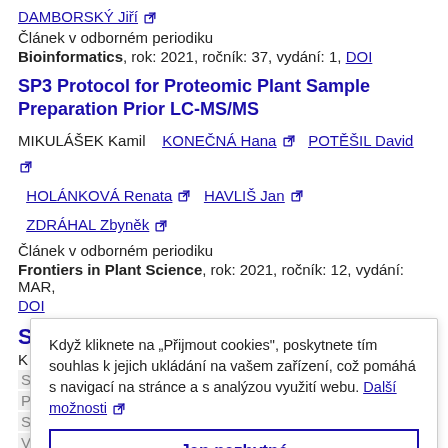DAMBORSKY Jiří [ext link]
Článek v odborném periodiku
Bioinformatics, rok: 2021, ročník: 37, vydání: 1, DOI
SP3 Protocol for Proteomic Plant Sample Preparation Prior LC-MS/MS
MIKULÁŠEK Kamil   KONEČNÁ Hana [ext]   POTĚŠIL David [ext]   HOLÁNKOVÁ Renata [ext]   HAVLIŠ Jan [ext]   ZDRÁHAL Zbyněk [ext]
Článek v odborném periodiku
Frontiers in Plant Science, rok: 2021, ročník: 12, vydání: MAR,
DOI
S...
Když kliknete na „Přijmout cookies", poskytnete tím souhlas k jejich ukládání na vašem zařízení, což pomáhá s navigací na stránce a s analýzou využití webu. Další možnosti [ext]
Jen nezbytné